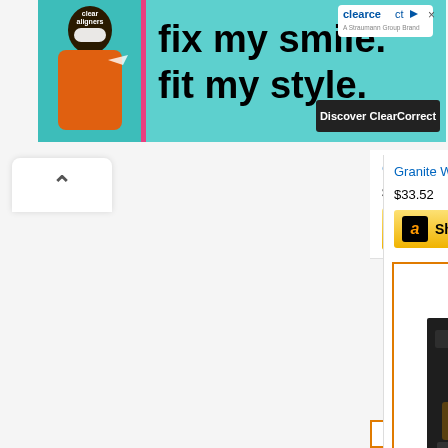[Figure (screenshot): ClearCorrect banner advertisement: 'fix my smile. fit my style.' with a smiling person, teal background, ClearCorrect logo, and 'Discover ClearCorrect' button]
Granite Ware Enamel on...
$33.52
[Figure (screenshot): Yellow 'Shop now' button with Amazon 'a' logo icon]
[Figure (screenshot): Amazon product card showing Instant Vortex Plus XL air fryer with Amazon logo, product image, title, and price]
Instant Vortex Plus XL...
$179.95 Prime
[Figure (screenshot): Partial Amazon card showing 'amazon' logo text at bottom of page]